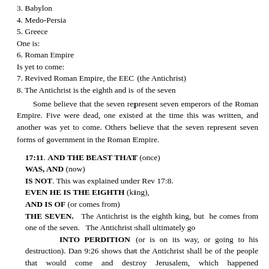3. Babylon
4. Medo-Persia
5. Greece
One is:
6. Roman Empire
Is yet to come:
7. Revived Roman Empire, the EEC (the Antichrist)
8. The Antichrist is the eighth and is of the seven
Some believe that the seven represent seven emperors of the Roman Empire. Five were dead, one existed at the time this was written, and another was yet to come. Others believe that the seven represent seven forms of government in the Roman Empire.
17:11. AND THE BEAST THAT (once)
WAS, AND (now)
IS NOT. This was explained under Rev 17:8.
EVEN HE IS THE EIGHTH (king),
AND IS OF (or comes from)
THE SEVEN.   The Antichrist is the eighth king, but  he comes from one of the seven.   The Antichrist shall ultimately go
INTO PERDITION (or is on its way, or going to his destruction). Dan 9:26 shows that the Antichrist shall be of the people that would come and destroy Jerusalem, which happened approximately 70 A.D. Those that came were of the Roman Empire.
17:12. AND THE TEN HORNS (mentioned in Rev 17:7,3)
WHICH THOU SAWEST ARE TEN KINGS (the ten horns represent ten kings)